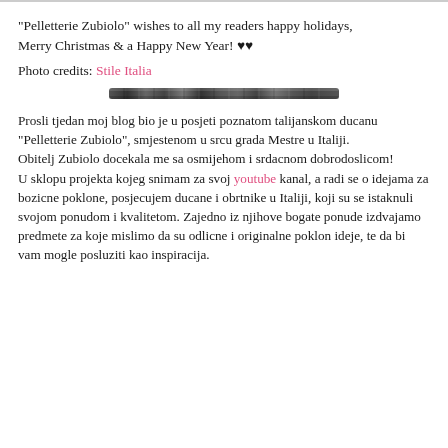"Pelletterie Zubiolo" wishes to all my readers happy holidays, Merry Christmas & a Happy New Year! ♥♥
Photo credits: Stile Italia
[Figure (other): Horizontal decorative divider bar, dark metallic texture]
Prosli tjedan moj blog bio je u posjeti poznatom talijanskom ducanu "Pelletterie Zubiolo", smjestenom u srcu grada Mestre u Italiji.
Obitelj Zubiolo docekala me sa osmijehom i srdacnom dobrodoslicom!
U sklopu projekta kojeg snimam za svoj youtube kanal, a radi se o idejama za bozicne poklone, posjecujem ducane i obrtnike u Italiji, koji su se istaknuli svojom ponudom i kvalitetom. Zajedno iz njihove bogate ponude izdvajamo predmete za koje mislimo da su odlicne i originalne poklon ideje, te da bi vam mogle posluziti kao inspiracija.